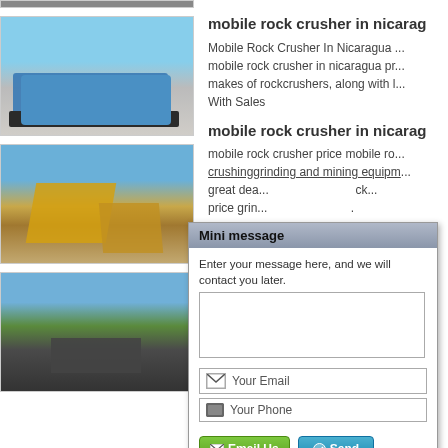[Figure (photo): Partial top image of rock crusher equipment]
[Figure (photo): Blue mobile rock crusher machine on gravel terrain with blue sky]
mobile rock crusher in nicarag...
Mobile Rock Crusher In Nicaragua ... mobile rock crusher in nicaragua pr... makes of rockcrushers, along with l... With Sales
[Figure (photo): Yellow and blue mining/crushing equipment on rocky terrain]
mobile rock crusher in nicarag...
mobile rock crusher price mobile ro... crushinggrinding and mining equipm... great dea... rock... price grin...
[Figure (photo): Aerial view of industrial mining facility with green landscape]
Portable ... ile
portable s... us... Crusher S... ha... Search fr... he... jaurainfra... et
[Figure (screenshot): Mini message popup dialog with text area, email and phone fields, Email Us and Send buttons]